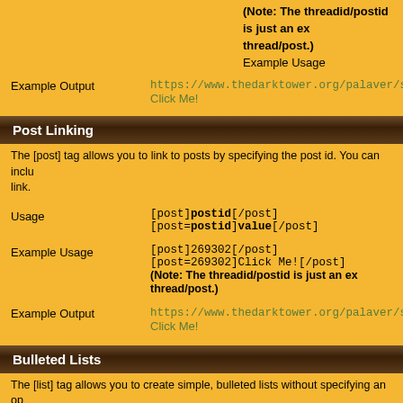(Note: The threadid/postid is just an example for an actual thread/post.)
Example Usage
Example Output
https://www.thedarktower.org/palaver/sho...
Click Me!
Post Linking
The [post] tag allows you to link to posts by specifying the post id. You can inclu... link.
Usage
[post]postid[/post]
[post=postid]value[/post]
Example Usage
[post]269302[/post]
[post=269302]Click Me![/post]
(Note: The threadid/postid is just an ex... thread/post.)
Example Output
https://www.thedarktower.org/palaver/sho...
Click Me!
Bulleted Lists
The [list] tag allows you to create simple, bulleted lists without specifying an op... is denoted by the [*] tag.
Usage
[list]value[/list]

[list]
[*]list item 1